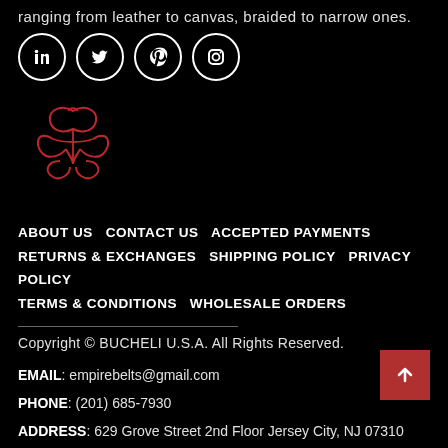ranging from leather to canvas, braided to narrow ones.
[Figure (illustration): Social media icons: LinkedIn, Twitter, Pinterest, Instagram — white circles with icons on black background]
[Figure (logo): Decorative red ornamental logo mark for BUCHELI U.S.A.]
ABOUT US  CONTACT US  ACCEPTED PAYMENTS  RETURNS & EXCHANGES  SHIPPING POLICY  PRIVACY POLICY  TERMS & CONDITIONS  WHOLESALE ORDERS
Copyright © BUCHELI U.S.A. All Rights Reserved.
EMAIL: empirebelts@gmail.com
PHONE: (201) 685-7930
ADDRESS: 629 Grove Street 2nd Floor Jersey City, NJ 07310 USA